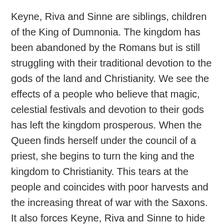Keyne, Riva and Sinne are siblings, children of the King of Dumnonia. The kingdom has been abandoned by the Romans but is still struggling with their traditional devotion to the gods of the land and Christianity. We see the effects of a people who believe that magic, celestial festivals and devotion to their gods has left the kingdom prosperous. When the Queen finds herself under the council of a priest, she begins to turn the king and the kingdom to Christianity. This tears at the people and coincides with poor harvests and the increasing threat of war with the Saxons. It also forces Keyne, Riva and Sinne to hide their magical ties and use them in secret. We see the whims and desires of the three lead them down paths that will change the kingdom forever.